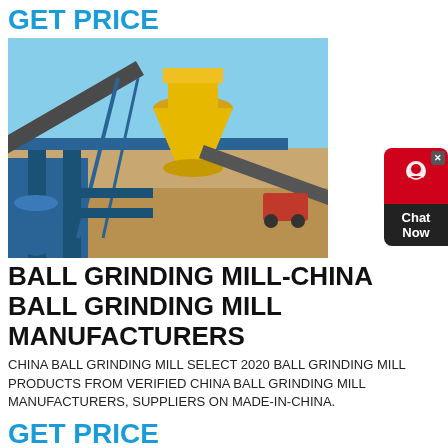GET PRICE
[Figure (photo): Industrial ball grinding mill machinery at a construction or mining site, with yellow and blue equipment, conveyor belts, and sandy terrain under blue sky.]
BALL GRINDING MILL-CHINA BALL GRINDING MILL MANUFACTURERS
CHINA BALL GRINDING MILL SELECT 2020 BALL GRINDING MILL PRODUCTS FROM VERIFIED CHINA BALL GRINDING MILL MANUFACTURERS, SUPPLIERS ON MADE-IN-CHINA.
GET PRICE
[Figure (photo): Partial view of industrial equipment against a blue sky, showing cables or structural elements.]